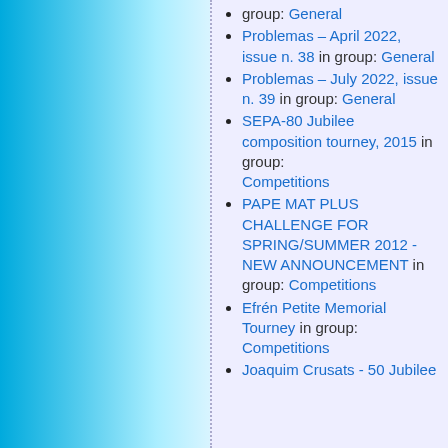group: General
Problemas – April 2022, issue n. 38 in group: General
Problemas – July 2022, issue n. 39 in group: General
SEPA-80 Jubilee composition tourney, 2015 in group: Competitions
PAPE MAT PLUS CHALLENGE FOR SPRING/SUMMER 2012 - NEW ANNOUNCEMENT in group: Competitions
Efrén Petite Memorial Tourney in group: Competitions
Joaquim Crusats - 50 Jubilee